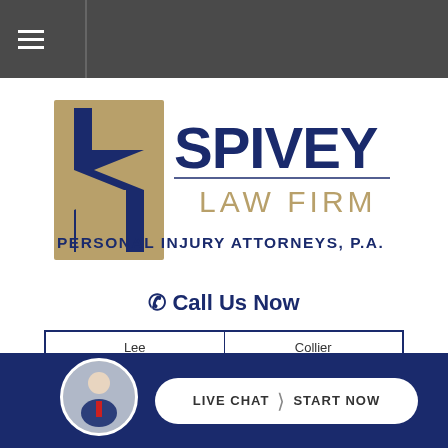≡ (hamburger menu icon)
[Figure (logo): Spivey Law Firm logo with golden S shield icon and navy blue text reading SPIVEY LAW FIRM PERSONAL INJURY ATTORNEYS, P.A.]
📞 Call Us Now
| Lee
(239) 337-7483 | Collier
(239) 793-7748 |
| Charlotte
(941) 764-7748 | Statewide
(888) 477-4839 |
LIVE CHAT | START NOW